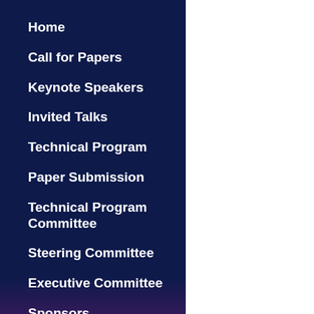Home
Call for Papers
Keynote Speakers
Invited Talks
Technical Program
Paper Submission
Technical Program Committee
Steering Committee
Executive Committee
Sponsors